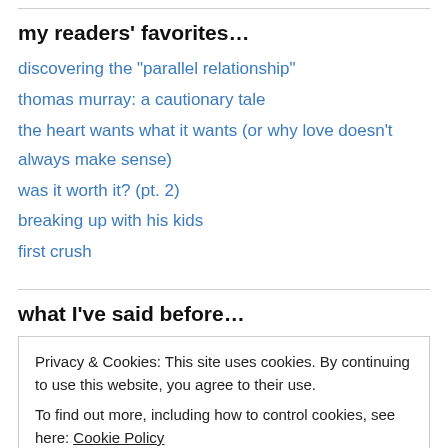my readers' favorites…
discovering the "parallel relationship"
thomas murray: a cautionary tale
the heart wants what it wants (or why love doesn't always make sense)
was it worth it? (pt. 2)
breaking up with his kids
first crush
what I've said before…
Privacy & Cookies: This site uses cookies. By continuing to use this website, you agree to their use.
To find out more, including how to control cookies, see here: Cookie Policy
Close and accept
December 2013